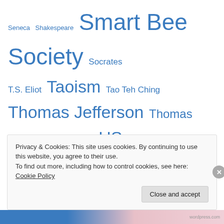Seneca Shakespeare Smart Bee Society Socrates T.S. Eliot Taoism Tao Teh Ching Thomas Jefferson Thomas Paine Ursula K. LeGuin US Constitution Voltaire William Butler Yeats Winnie the Pooh You Tube Zippy the Pinhead
Blog Stats
78,478 hits
Privacy & Cookies: This site uses cookies. By continuing to use this website, you agree to their use. To find out more, including how to control cookies, see here: Cookie Policy
Close and accept